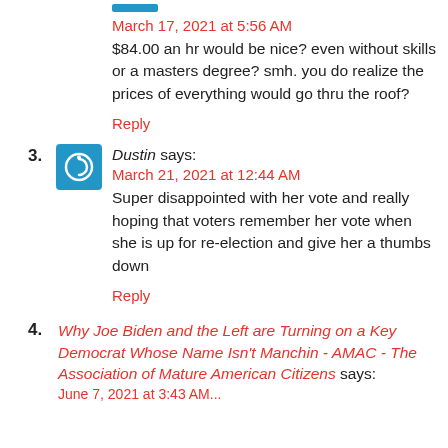March 17, 2021 at 5:56 AM
$84.00 an hr would be nice? even without skills or a masters degree? smh. you do realize the prices of everything would go thru the roof?
Reply
3. Dustin says:
March 21, 2021 at 12:44 AM
Super disappointed with her vote and really hoping that voters remember her vote when she is up for re-election and give her a thumbs down
Reply
4. Why Joe Biden and the Left are Turning on a Key Democrat Whose Name Isn't Manchin - AMAC - The Association of Mature American Citizens says:
June 7, 2021 at 3:43 AM